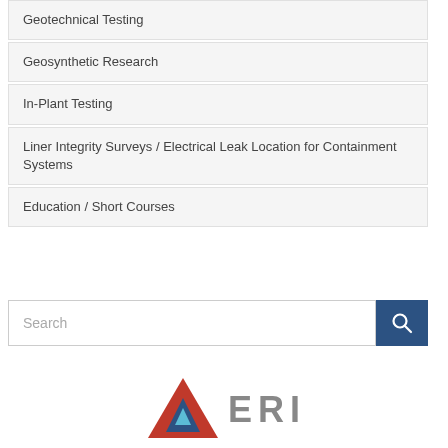Geotechnical Testing
Geosynthetic Research
In-Plant Testing
Liner Integrity Surveys / Electrical Leak Location for Containment Systems
Education / Short Courses
Search
[Figure (logo): Company logo with red/blue triangle and text letters]